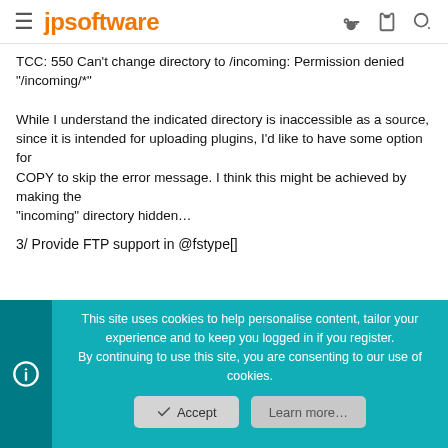jpsoftware
TCC: 550 Can't change directory to /incoming: Permission denied
"/incoming/*"

While I understand the indicated directory is inaccessible as a source,
since it is intended for uploading plugins, I'd like to have some option for
COPY to skip the error message. I think this might be achieved by making the
"incoming" directory hidden...
3/ Provide FTP support in @fstype[]
This site uses cookies to help personalise content, tailor your experience and to keep you logged in if you register.
By continuing to use this site, you are consenting to our use of cookies.